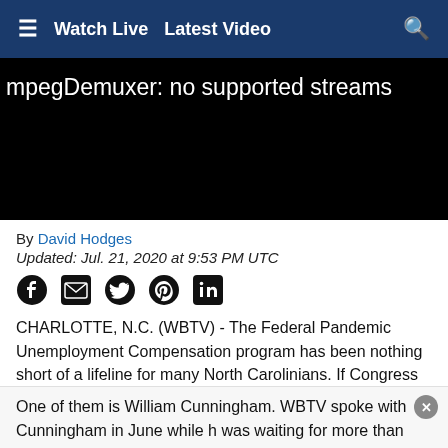≡  Watch Live  Latest Video  🔍
[Figure (screenshot): Black video player area showing error text: mpegDemuxer: no supported streams]
By David Hodges
Updated: Jul. 21, 2020 at 9:53 PM UTC
[Figure (infographic): Social share icons: Facebook, Email, Twitter, Pinterest, LinkedIn]
CHARLOTTE, N.C. (WBTV) - The Federal Pandemic Unemployment Compensation program has been nothing short of a lifeline for many North Carolinians. If Congress doesn't act it expires this weekend leaving many North Carolinians wondering how they'll pay their bills.
One of them is William Cunningham. WBTV spoke with Cunningham in June while h was waiting for more than two